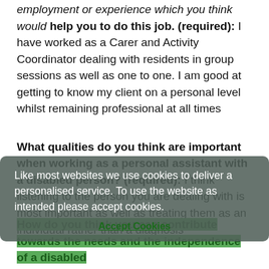employment or experience which you think would help you to do this job. (required): I have worked as a Carer and Activity Coordinator dealing with residents in group sessions as well as one to one. I am good at getting to know my client on a personal level whilst remaining professional at all times
What qualities do you think are important when working as a personal assistant with a disabled person? (required): I think listening to the person you are dealing with is most important as well as treating them as an individual rather than a diagnosis
Like most websites we use cookies to deliver a personalised service. To use the website as intended please accept cookies.
Accept Cookies
How do you think you can contribute towards the needs and the independence of a disabled person? (required): By getting to know the person